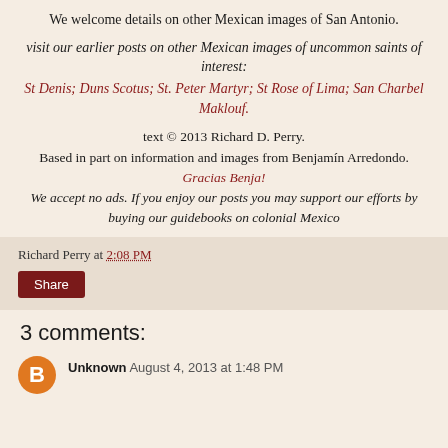We welcome details on other Mexican images of San Antonio.
visit our earlier posts on other Mexican images of uncommon saints of interest: St Denis; Duns Scotus; St. Peter Martyr; St Rose of Lima; San Charbel Maklouf.
text © 2013 Richard D. Perry. Based in part on information and images from Benjamín Arredondo. Gracias Benja! We accept no ads. If you enjoy our posts you may support our efforts by buying our guidebooks on colonial Mexico
Richard Perry at 2:08 PM
Share
3 comments:
Unknown  August 4, 2013 at 1:48 PM